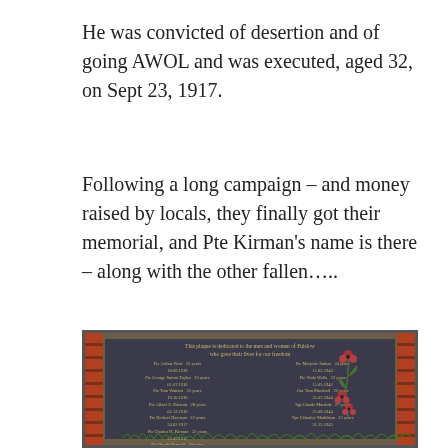He was convicted of desertion and of going AWOL and was executed, aged 32, on Sept 23, 1917.
Following a long campaign – and money raised by locals, they finally got their memorial, and Pte Kirman's name is there – along with the other fallen…..
[Figure (photo): A memorial plaque mounted on a brick wall dedicated to the men and women of Fulslow who gave their lives for our freedom. The plaque lists names including Pte Arthur West 25 years 18.09.1918, Pte George Sutton Taylor 20 years 01.07.1916, Pte Tom Wattam 22 years 19.10.1916, Pte Albert S. Sherratt 28 years 02.12.1916, Pte Herbert Harrison 22 years 24.02.1917, Pte Charles H. Kirman 32 years 23.09.1917, Pte Harold Pennell 19 years 23.11.1917, Rfn Herbert E. Green 24 years, Pte George M..., and on the right side Pte Marjorie Sutton 24 years 11.05.1943, Pte Viola Wells 23 years 11.05.1942, Gnr Tom Marshall 22 years 21.07.1944, Sgt Claude Marriott 27 years 21.09.1944, Tpr J. Stanley Maddison 22 years 21.12.1945. The plaque is decorated with painted red poppies and green stems/leaves.]